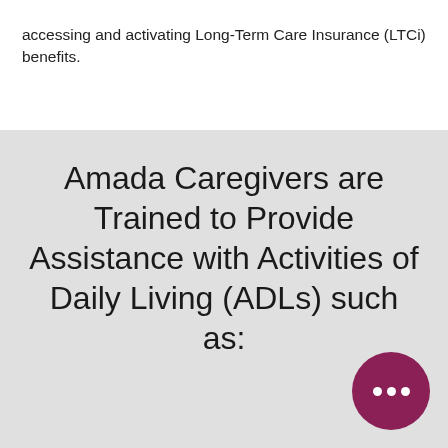accessing and activating Long-Term Care Insurance (LTCi) benefits.
Amada Caregivers are Trained to Provide Assistance with Activities of Daily Living (ADLs) such as:
[Figure (illustration): Circular chat/messaging button icon with dark magenta/maroon background and three white dots indicating a speech bubble or messaging interface]